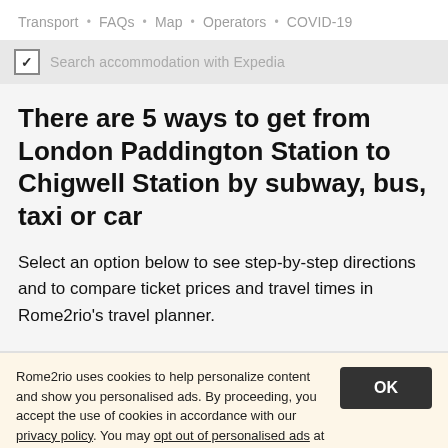Transport · FAQs · Map · Operators · COVID-19
✓ Search accommodation with Expedia
There are 5 ways to get from London Paddington Station to Chigwell Station by subway, bus, taxi or car
Select an option below to see step-by-step directions and to compare ticket prices and travel times in Rome2rio's travel planner.
Rome2rio uses cookies to help personalize content and show you personalised ads. By proceeding, you accept the use of cookies in accordance with our privacy policy. You may opt out of personalised ads at any time.